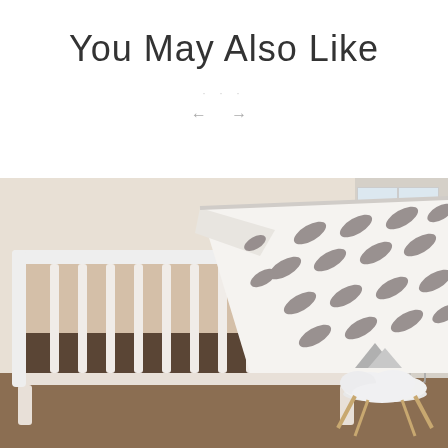You May Also Like
[Figure (photo): Baby nursery scene showing a white crib with a white and grey feather-patterned blanket draped over the rail, a tan/brown crib skirt, and a white cloud-shaped pillow on a white Eames-style chair in the background.]